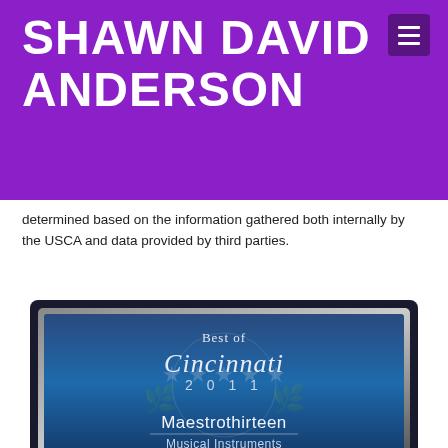SHAWN DAVID ANDERSON
determined based on the information gathered both internally by the USCA and data provided by third parties.
[Figure (photo): Award plaque reading 'Best of Cincinnati 2011 — Maestrothirteen Musical Instruments', shown in a dark frame with blue background, stars, and laurel wreath design.]